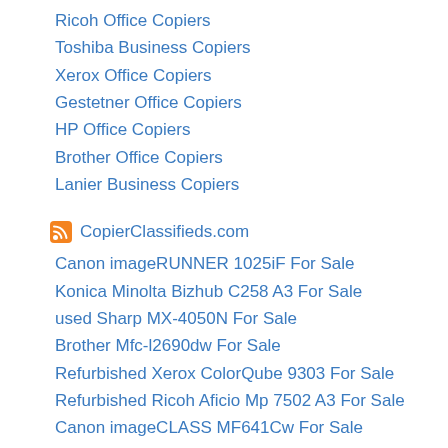Ricoh Office Copiers
Toshiba Business Copiers
Xerox Office Copiers
Gestetner Office Copiers
HP Office Copiers
Brother Office Copiers
Lanier Business Copiers
CopierClassifieds.com
Canon imageRUNNER 1025iF For Sale
Konica Minolta Bizhub C258 A3 For Sale
used Sharp MX-4050N For Sale
Brother Mfc-l2690dw For Sale
Refurbished Xerox ColorQube 9303 For Sale
Refurbished Ricoh Aficio Mp 7502 A3 For Sale
Canon imageCLASS MF641Cw For Sale
Refurbished Xerox WorkCentre 7120 For Sale
Kyocera TASKalfa 2552ci A3/A4 For Sale
Ricoh Im 350F For Sale